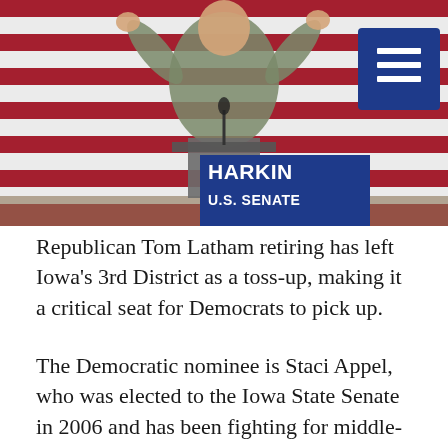[Figure (photo): A woman speaking at a podium at a political rally, arms raised, in front of a large American flag backdrop. A blue campaign sign reads 'HARKIN U.S. SENATE'. A blue hamburger menu button is visible in the upper right corner.]
Republican Tom Latham retiring has left Iowa's 3rd District as a toss-up, making it a critical seat for Democrats to pick up.
The Democratic nominee is Staci Appel, who was elected to the Iowa State Senate in 2006 and has been fighting for middle-class families, farmers and small-business owners ever since.
Appel's top issues include raising the minimum wage, closing loopholes for corporations that ship jobs overseas, pushing back against the extremists attacking affordable health care